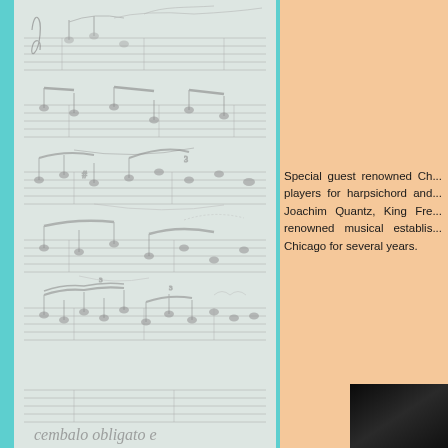[Figure (photo): Blurred handwritten musical score / sheet music on white paper background, with teal/cyan background behind it. Text at bottom reads 'cembalo obligato e']
Special guest renowned Ch... players for harpsichord and... Joachim Quantz, King Fre... renowned musical establis... Chicago for several years.
[Figure (photo): Dark/black portrait photo of a person, partially visible at right edge]
[Figure (photo): Colorful photo partially visible at bottom right, appears to show flowers or colorful clothing]